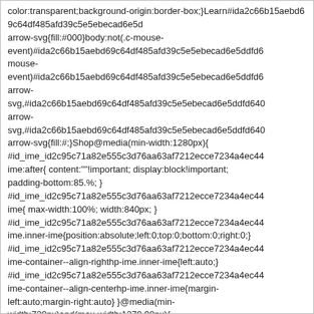color:transparent;background-origin:border-box;}Learn#ida2c66b15aebd69c64df485afd39c5e5ebecad6e5d arrow-svg{fill:#000}body:not(.c-mouse-event)#ida2c66b15aebd69c64df485afd39c5e5ebecad6e5ddfd6 mouse-event)#ida2c66b15aebd69c64df485afd39c5e5ebecad6e5ddfd6 arrow-svg,#ida2c66b15aebd69c64df485afd39c5e5ebecad6e5ddfd640 arrow-svg,#ida2c66b15aebd69c64df485afd39c5e5ebecad6e5ddfd640 arrow-svg{fill:#;}Shop@media(min-width:1280px){ #id_ime_id2c95c71a82e555c3d76aa63af7212ecce7234a4ec44 ime:after{ content:""!important; display:block!important; padding-bottom:85.%; } #id_ime_id2c95c71a82e555c3d76aa63af7212ecce7234a4ec44 ime{ max-width:100%; width:840px; } #id_ime_id2c95c71a82e555c3d76aa63af7212ecce7234a4ec44 ime.inner-ime{position:absolute;left:0;top:0;bottom:0;right:0;} #id_ime_id2c95c71a82e555c3d76aa63af7212ecce7234a4ec44 ime-container--align-righthp-ime.inner-ime{left:auto;} #id_ime_id2c95c71a82e555c3d76aa63af7212ecce7234a4ec44 ime-container--align-centerhp-ime.inner-ime{margin-left:auto;margin-right:auto} }@media(min-width:720px)and(max-width:1279.98px){ #id_ime_id2c95c71a82e555c3d76aa63af7212ecce7234a4ec44 ime:after{ content:""!important; display:block!important; padding-bottom:85.%; } #id_ime_id2c95c71a82e555c3d76aa63af7212ecce7234a4ec44